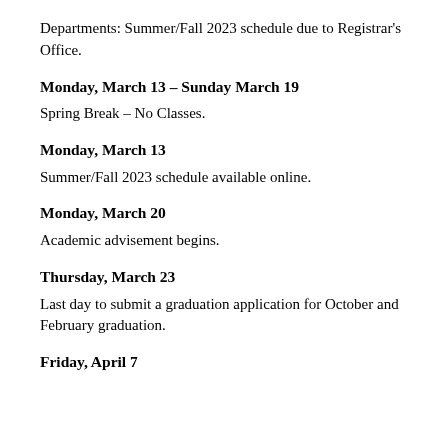Departments: Summer/Fall 2023 schedule due to Registrar's Office.
Monday, March 13 – Sunday March 19
Spring Break – No Classes.
Monday, March 13
Summer/Fall 2023 schedule available online.
Monday, March 20
Academic advisement begins.
Thursday, March 23
Last day to submit a graduation application for October and February graduation.
Friday, April 7